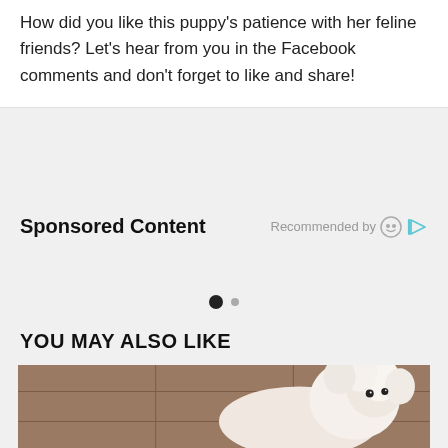How did you like this puppy's patience with her feline friends? Let's hear from you in the Facebook comments and don't forget to like and share!
Sponsored Content
Recommended by
[Figure (other): Carousel navigation dots: one large filled dark circle and one smaller grey circle]
YOU MAY ALSO LIKE
[Figure (photo): Photo of a small fluffy white puppy lying on a brown tiled or quilted surface, viewed from the side]